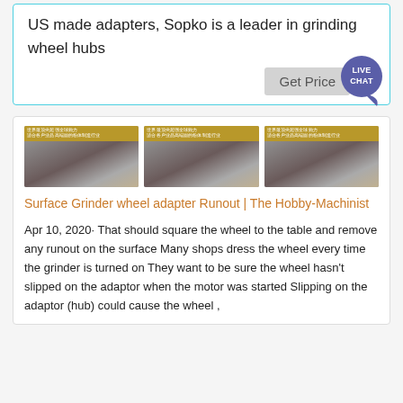US made adapters, Sopko is a leader in grinding wheel hubs
[Figure (other): Get Price button with Live Chat bubble overlay]
[Figure (photo): Three identical images showing grinding machinery with Chinese text banner at top]
Surface Grinder wheel adapter Runout | The Hobby-Machinist
Apr 10, 2020· That should square the wheel to the table and remove any runout on the surface Many shops dress the wheel every time the grinder is turned on They want to be sure the wheel hasn't slipped on the adaptor when the motor was started Slipping on the adaptor (hub) could cause the wheel ,